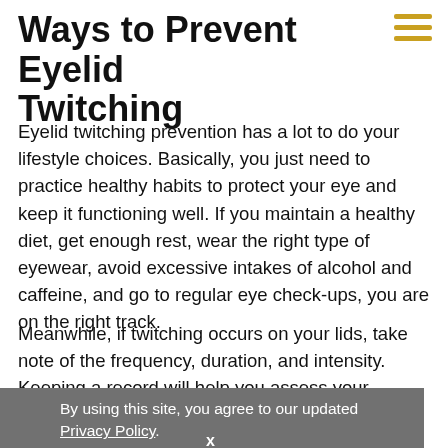Ways to Prevent Eyelid Twitching
Eyelid twitching prevention has a lot to do your lifestyle choices. Basically, you just need to practice healthy habits to protect your eye and keep it functioning well. If you maintain a healthy diet, get enough rest, wear the right type of eyewear, avoid excessive intakes of alcohol and caffeine, and go to regular eye check-ups, you are on the right track.
Meanwhile, if twitching occurs on your lids, take note of the frequency, duration, and intensity. Keeping a record will help you assess your situation better and know the right time to visit an eye doctor.
By using this site, you agree to our updated Privacy Policy.